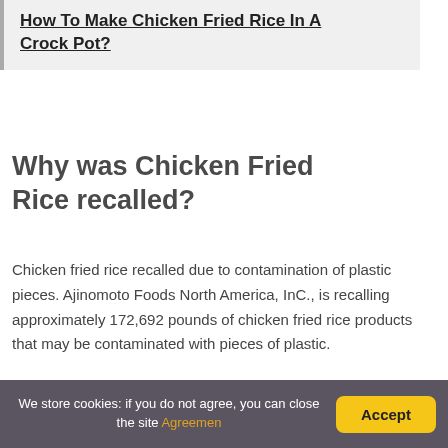How To Make Chicken Fried Rice In A Crock Pot?
Why was Chicken Fried Rice recalled?
Chicken fried rice recalled due to contamination of plastic pieces. Ajinomoto Foods North America, InC., is recalling approximately 172,692 pounds of chicken fried rice products that may be contaminated with pieces of plastic.
Does Walmart have fried
We store cookies: if you do not agree, you can close the site Agreemen